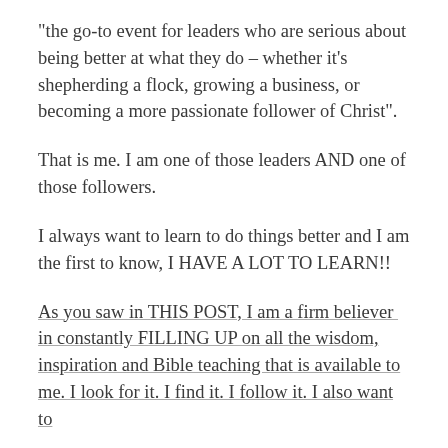“the go-to event for leaders who are serious about being better at what they do – whether it’s shepherding a flock, growing a business, or becoming a more passionate follower of Christ”.
That is me. I am one of those leaders AND one of those followers.
I always want to learn to do things better and I am the first to know, I HAVE A LOT TO LEARN!!
As you saw in THIS POST, I am a firm believer in constantly FILLING UP on all the wisdom, inspiration and Bible teaching that is available to me. I look for it. I find it. I follow it. I also want to